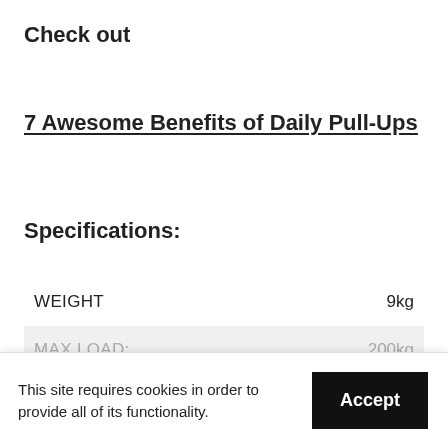Check out
7 Awesome Benefits of Daily Pull-Ups
Specifications:
|  |  |
| --- | --- |
| WEIGHT | 9kg |
| MAX LOAD: | 200kg |
This site requires cookies in order to provide all of its functionality.